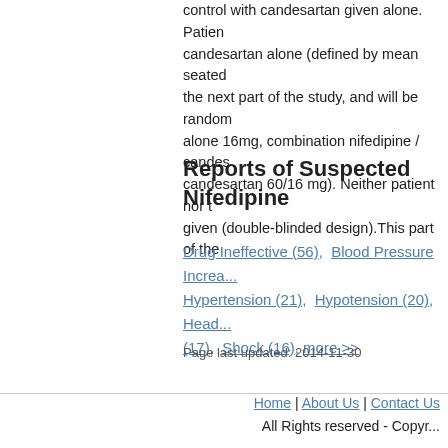control with candesartan given alone. Patients who do not achieve adequate blood pressure control with candesartan alone (defined by mean seated diastolic blood pressure ≥90 mmHg) will enter the next part of the study, and will be randomised to one of three treatments: nifedipine alone 16mg, combination nifedipine / candesartan 60/16 mg, or combination nifedipine / candesartan 60/16 mg). Neither patient nor the investigating doctor will know which treatment is being given (double-blinded design).This part of the
Reports of Suspected Nifedipine
Drug Ineffective (56),  Blood Pressure Increased,  Hypertension (21),  Hypotension (20),  Headache (17),  Shock (16), more >>
Page last updated: 2014-11-30
Home | About Us | Contact Us
All Rights reserved - Copyright